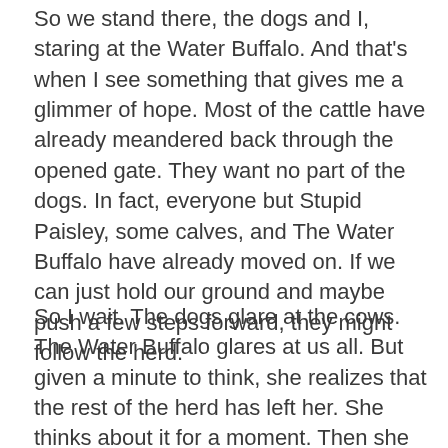So we stand there, the dogs and I, staring at the Water Buffalo.  And that's when I see something that gives me a glimmer of hope. Most of the cattle have already meandered back through the opened gate. They want no part of the dogs. In fact, everyone but Stupid Paisley, some calves, and The Water Buffalo have already moved on.  If we can just hold our ground and maybe push a few steps forward, they might follow the herd.
So I wait. The dogs glare at the cows. The Water Buffalo glares at us all. But given a minute to think, she realizes that the rest of the herd has left her. She thinks about it for a moment. Then she lowers her head, gives us a snort, and backs toward the